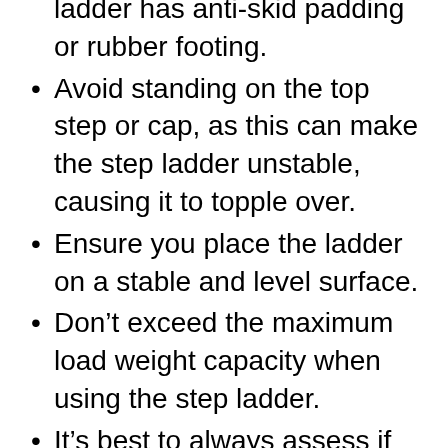ladder has anti-skid padding or rubber footing.
Avoid standing on the top step or cap, as this can make the step ladder unstable, causing it to topple over.
Ensure you place the ladder on a stable and level surface.
Don’t exceed the maximum load weight capacity when using the step ladder.
It’s best to always assess if the ladder has any damage before use.